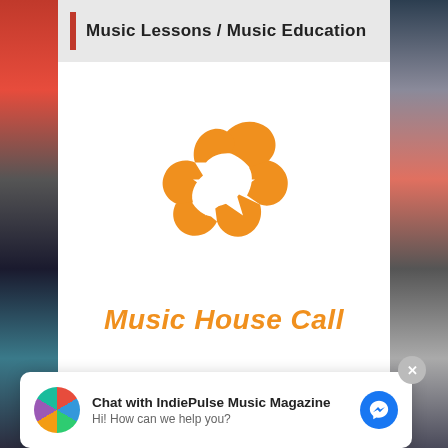Music Lessons / Music Education
[Figure (logo): Music House Call logo: orange star-swirl shape above orange italic text 'Music House Call']
Chat with IndiePulse Music Magazine
Hi! How can we help you?